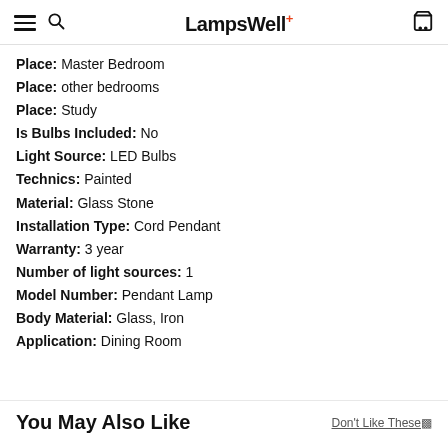LampsWell+
Place: Master Bedroom
Place: other bedrooms
Place: Study
Is Bulbs Included: No
Light Source: LED Bulbs
Technics: Painted
Material: Glass Stone
Installation Type: Cord Pendant
Warranty: 3 year
Number of light sources: 1
Model Number: Pendant Lamp
Body Material: Glass, Iron
Application: Dining Room
You May Also Like
Don't Like These